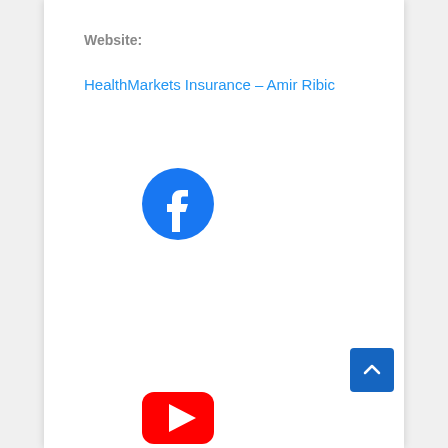Website:
HealthMarkets Insurance – Amir Ribic
[Figure (logo): Facebook logo icon - blue circle with white 'f' letter]
[Figure (logo): YouTube logo icon - partially visible red button at bottom of page]
[Figure (other): Blue scroll-to-top button with upward chevron arrow in bottom right corner]